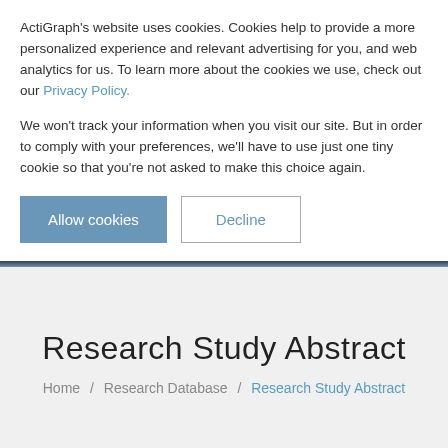ActiGraph's website uses cookies. Cookies help to provide a more personalized experience and relevant advertising for you, and web analytics for us. To learn more about the cookies we use, check out our Privacy Policy.
We won't track your information when you visit our site. But in order to comply with your preferences, we'll have to use just one tiny cookie so that you're not asked to make this choice again.
Allow cookies | Decline
Research Study Abstract
Home / Research Database / Research Study Abstract